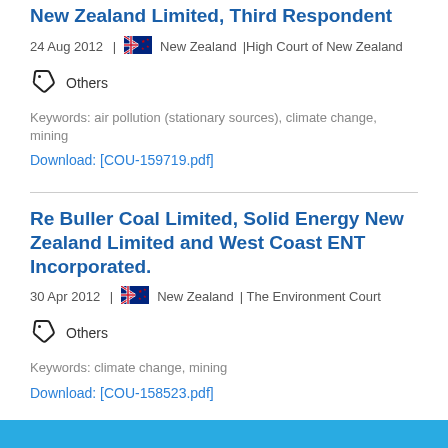New Zealand Limited, Third Respondent
24 Aug 2012 | New Zealand | High Court of New Zealand
Others
Keywords: air pollution (stationary sources), climate change, mining
Download: [COU-159719.pdf]
Re Buller Coal Limited, Solid Energy New Zealand Limited and West Coast ENT Incorporated.
30 Apr 2012 | New Zealand | The Environment Court
Others
Keywords: climate change, mining
Download: [COU-158523.pdf]